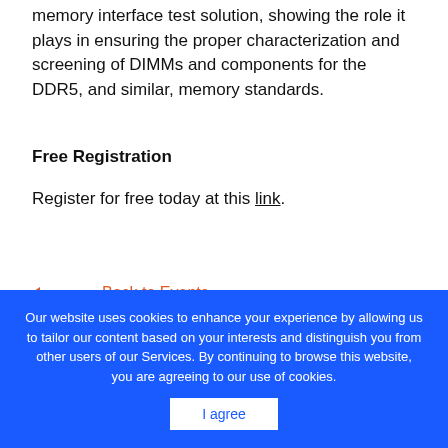overview and demo of Introspect's highly parallel memory interface test solution, showing the role it plays in ensuring the proper characterization and screening of DIMMs and components for the DDR5, and similar, memory standards.
Free Registration
Register for free today at this link.
← Back to Events
Our website uses cookies to enhance your experience by allowing us to tailor our content based on your interests and distinguish you from other users of our Services. By continuing to browse this website, you are agreeing to our use of cookies.
I agree